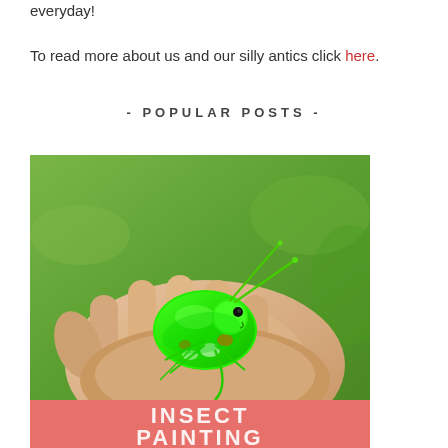everyday!
To read more about us and our silly antics click here.
- POPULAR POSTS -
[Figure (photo): A bright green painted grasshopper/cricket sitting in a person's open palm, with a blurred green background. Below the insect photo is a coral/pink banner with white text reading 'INSECT PAINTING'.]